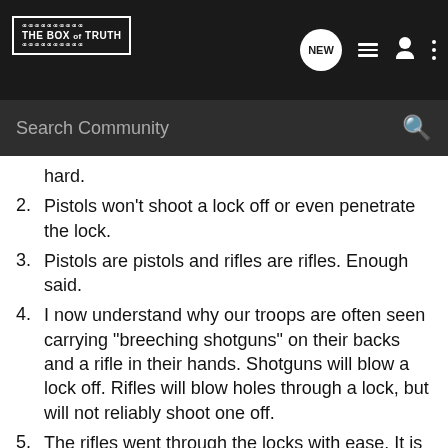THE BOX OF TRUTH
hard.
2. Pistols won't shoot a lock off or even penetrate the lock.
3. Pistols are pistols and rifles are rifles. Enough said.
4. I now understand why our troops are often seen carrying "breeching shotguns" on their backs and a rifle in their hands. Shotguns will blow a lock off. Rifles will blow holes through a lock, but will not reliably shoot one off.
5. The rifles went through the locks with ease. It is obvious that you could "knaw" off the lock, little by little with a rifle, but a shotgun does it with one shot.